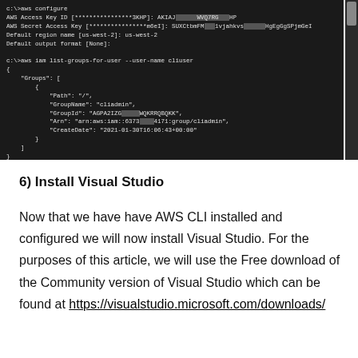[Figure (screenshot): Terminal/command prompt window showing AWS CLI configure command and IAM list-groups-for-user output with JSON response showing group 'cliadmin']
6) Install Visual Studio
Now that we have have AWS CLI installed and configured we will now install Visual Studio. For the purposes of this article, we will use the Free download of the Community version of Visual Studio which can be found at https://visualstudio.microsoft.com/downloads/